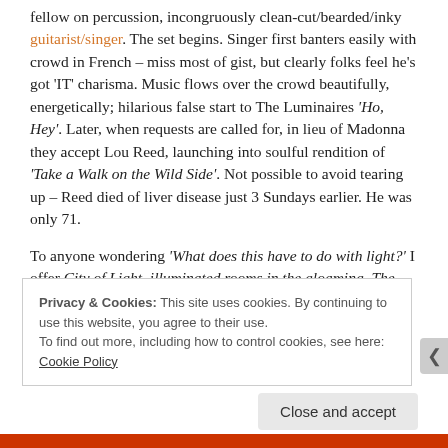fellow on percussion, incongruously clean-cut/bearded/inky guitarist/singer. The set begins. Singer first banters easily with crowd in French – miss most of gist, but clearly folks feel he's got 'IT' charisma. Music flows over the crowd beautifully, energetically; hilarious false start to The Luminaires 'Ho, Hey'. Later, when requests are called for, in lieu of Madonna they accept Lou Reed, launching into soulful rendition of 'Take a Walk on the Wild Side'. Not possible to avoid tearing up – Reed died of liver disease just 3 Sundays earlier. He was only 71.
To anyone wondering 'What does this have to do with light?' I offer City of Light, illuminated rooms in the gloaming, The Luminaires, and lastly White Light/White Heat: Lou Reed...
Privacy & Cookies: This site uses cookies. By continuing to use this website, you agree to their use. To find out more, including how to control cookies, see here: Cookie Policy